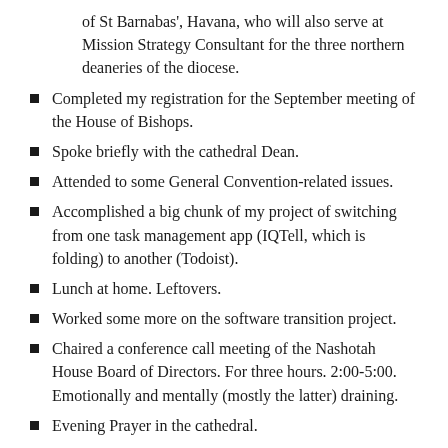of St Barnabas', Havana, who will also serve at Mission Strategy Consultant for the three northern deaneries of the diocese.
Completed my registration for the September meeting of the House of Bishops.
Spoke briefly with the cathedral Dean.
Attended to some General Convention-related issues.
Accomplished a big chunk of my project of switching from one task management app (IQTell, which is folding) to another (Todoist).
Lunch at home. Leftovers.
Worked some more on the software transition project.
Chaired a conference call meeting of the Nashotah House Board of Directors. For three hours. 2:00-5:00. Emotionally and mentally (mostly the latter) draining.
Evening Prayer in the cathedral.